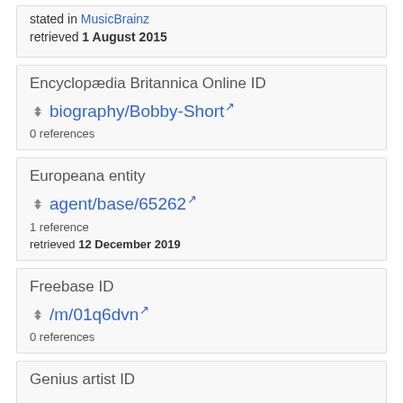stated in MusicBrainz
retrieved 1 August 2015
Encyclopædia Britannica Online ID
biography/Bobby-Short [external link]
0 references
Europeana entity
agent/base/65262 [external link]
1 reference
retrieved 12 December 2019
Freebase ID
/m/01q6dvn [external link]
0 references
Genius artist ID